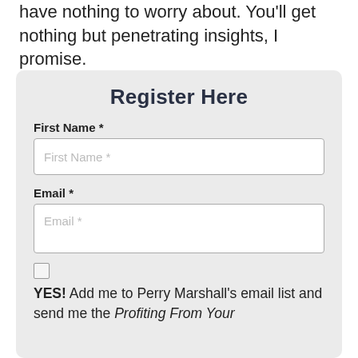have nothing to worry about. You'll get nothing but penetrating insights, I promise.
Register Here
First Name *
First Name *
Email *
Email *
YES! Add me to Perry Marshall's email list and send me the Profiting From Your